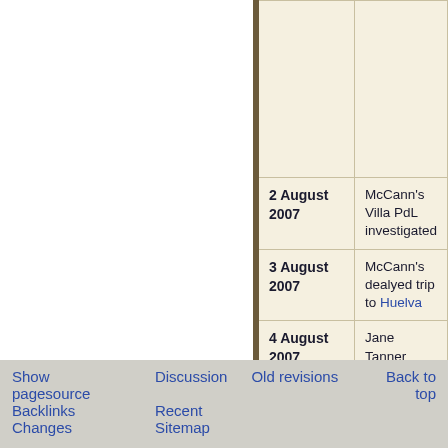| Date | Event |
| --- | --- |
|  |  |
| 2 August 2007 | McCann's Villa PdL investigated |
| 3 August 2007 | McCann's dealyed trip to Huelva |
| 4 August 2007 | Jane Tanner interviewed by British Police |
| 4 - 6 August | The Car and Apartment |
Show pagesource   Discussion   Old revisions   Backlinks   Recent Changes   Sitemap   Back to top